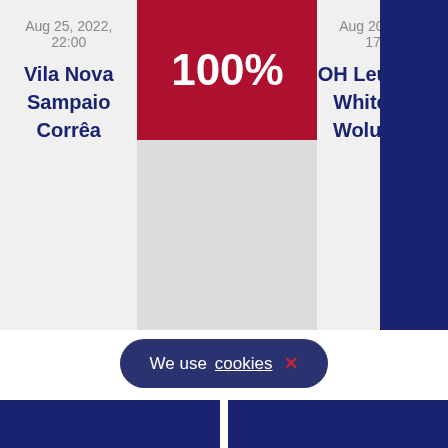Aug 25, 2022, 22:00
Vila Nova
Sampaio
Corrêa
100%
Aug 20, 2022, 17:00
OH Leuven W
White Star
Woluwé W
We use cookies ×